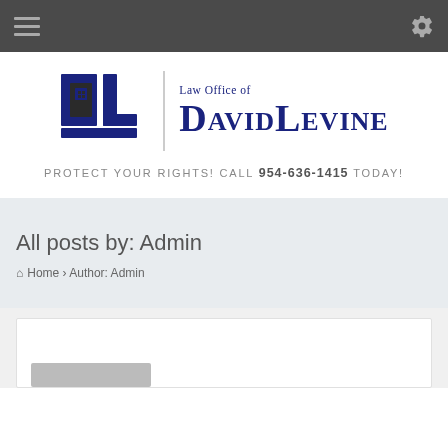Navigation bar with hamburger menu and settings icon
[Figure (logo): Law Office of David Levine logo with DL monogram icon and text]
PROTECT YOUR RIGHTS! CALL 954-636-1415 TODAY!
All posts by: Admin
Home > Author: Admin
[Figure (screenshot): Partial post card visible at bottom of page]